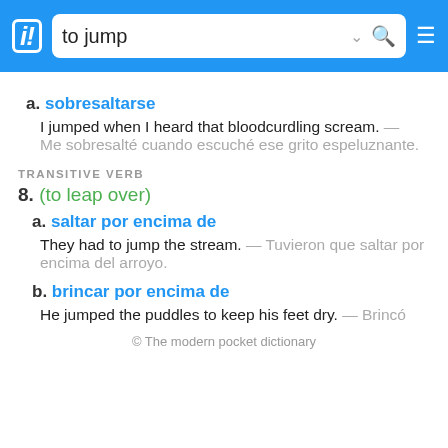to jump
a. sobresaltarse
I jumped when I heard that bloodcurdling scream. — Me sobresalté cuando escuché ese grito espeluznante.
TRANSITIVE VERB
8. (to leap over)
a. saltar por encima de
They had to jump the stream. — Tuvieron que saltar por encima del arroyo.
b. brincar por encima de
He jumped the puddles to keep his feet dry. — Brincó
© The modern pocket dictionary